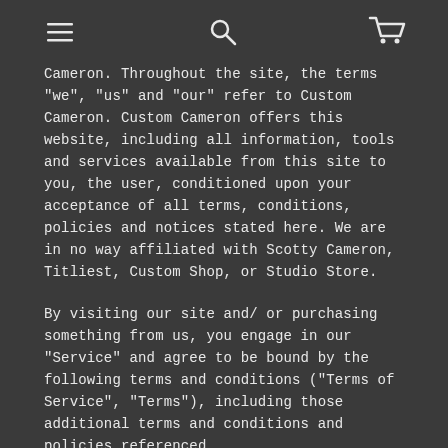[navigation icons: menu, search, cart]
Cameron. Throughout the site, the terms “we”, “us” and “our” refer to Custom Cameron. Custom Cameron offers this website, including all information, tools and services available from this site to you, the user, conditioned upon your acceptance of all terms, conditions, policies and notices stated here. We are in no way affiliated with Scotty Cameron, Titliest, Custom Shop, or Studio Store.
By visiting our site and/ or purchasing something from us, you engage in our “Service” and agree to be bound by the following terms and conditions (“Terms of Service”, “Terms”), including those additional terms and conditions and policies referenced